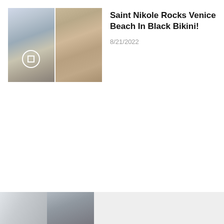[Figure (photo): Two side-by-side beach photos of a blonde woman in a black bikini at Venice Beach]
Saint Nikole Rocks Venice Beach In Black Bikini!
8/21/2022
[Figure (photo): Partially visible bottom strip showing another article's thumbnail images]